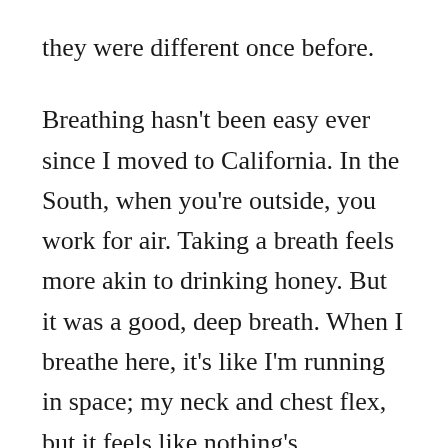they were different once before.
Breathing hasn’t been easy ever since I moved to California. In the South, when you’re outside, you work for air. Taking a breath feels more akin to drinking honey. But it was a good, deep breath. When I breathe here, it’s like I’m running in space; my neck and chest flex, but it feels like nothing’s happening.
The trees here are dead right now. Or